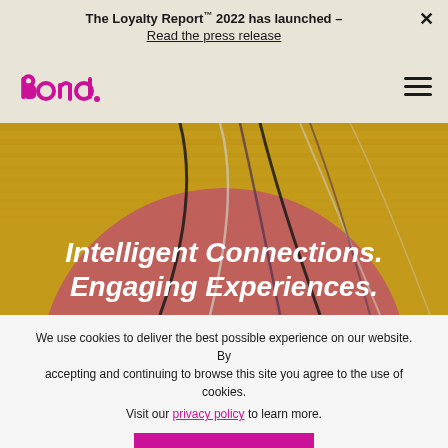The Loyalty Report™ 2022 has launched – Read the press release
[Figure (logo): Bond brand loyalty logo in magenta/pink]
[Figure (illustration): Hero illustration with warm gold/mustard background, large terracotta/dark pink semicircle, curved black and gray lines overlaid]
Intelligent Connections. Engaging Experiences.
We use cookies to deliver the best possible experience on our website. By accepting and continuing to browse this site you agree to the use of cookies. Visit our privacy policy to learn more.
Accept